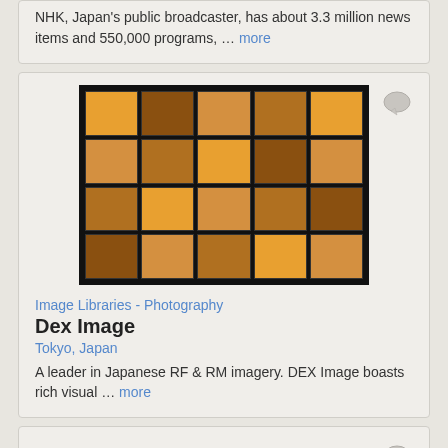NHK, Japan's public broadcaster, has about 3.3 million news items and 550,000 programs, … more
[Figure (photo): A grid of photographic film slides showing various warm-toned images, orange/yellow hues, displayed in a dark frame — image library/photography collection]
Image Libraries - Photography
Dex Image
Tokyo, Japan
A leader in Japanese RF & RM imagery. DEX Image boasts rich visual … more
[Figure (logo): A circular logo with a globe/earth graphic and a pencil/pen, on a blue background — partial view at bottom of page]